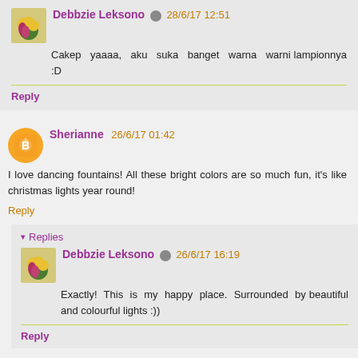Debbzie Leksono 28/6/17 12:51
Cakep yaaaa, aku suka banget warna warni lampionnya :D
Reply
Sherianne 26/6/17 01:42
I love dancing fountains! All these bright colors are so much fun, it's like christmas lights year round!
Reply
Replies
Debbzie Leksono 26/6/17 16:19
Exactly! This is my happy place. Surrounded by beautiful and colourful lights :))
Reply